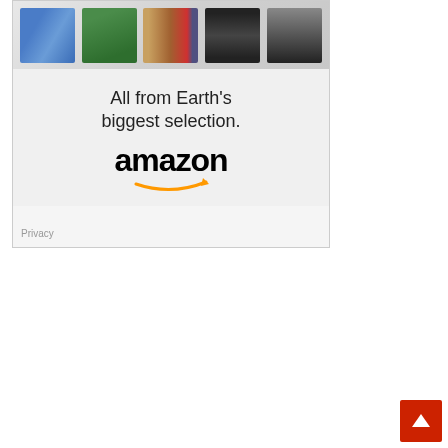[Figure (illustration): Amazon advertisement banner showing product images at top (sneakers, green drink, books, tablets, movie poster) with tagline 'All from Earth's biggest selection.' and the Amazon logo with orange arrow swoosh. A 'Privacy' label appears in the bottom left corner of the ad.]
[Figure (illustration): Red square scroll-to-top button with white upward arrow, positioned in the bottom-right corner of the page.]